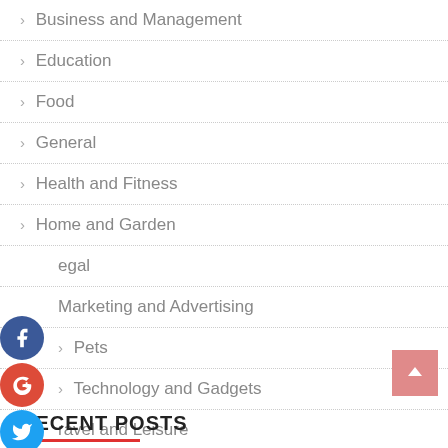> Business and Management
> Education
> Food
> General
> Health and Fitness
> Home and Garden
> Legal
> Marketing and Advertising
> Pets
> Technology and Gadgets
> Travel and Leisure
RECENT POSTS